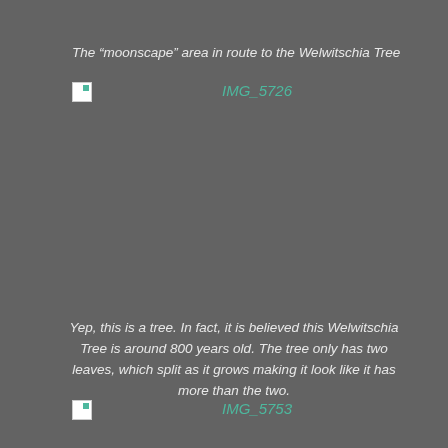The “moonscape” area in route to the Welwitschia Tree
[Figure (photo): Broken image placeholder labeled IMG_5726]
Yep, this is a tree. In fact, it is believed this Welwitschia Tree is around 800 years old. The tree only has two leaves, which split as it grows making it look like it has more than the two.
[Figure (photo): Broken image placeholder labeled IMG_5753]